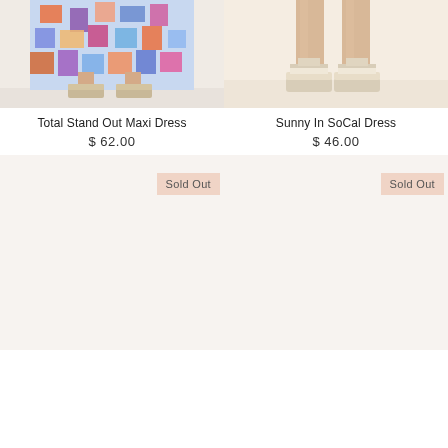[Figure (photo): Colorful patterned maxi dress with geometric print in orange, purple, blue, pink colors, model wearing wedge sandals, lower half of dress visible]
Total Stand Out Maxi Dress
$ 62.00
[Figure (photo): Model legs wearing beige/white wedge platform sandals, light background]
Sunny In SoCal Dress
$ 46.00
[Figure (photo): Product image placeholder - light beige/pink background, Sold Out badge]
[Figure (photo): Product image placeholder - light beige/pink background, Sold Out badge]